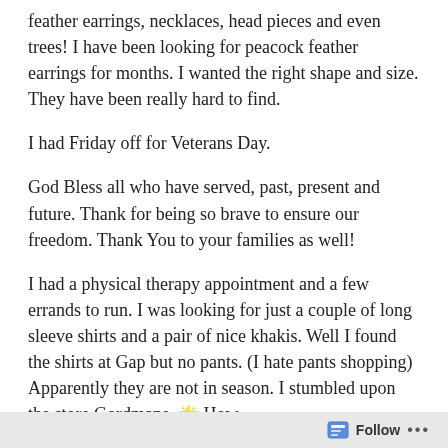feather earrings, necklaces, head pieces and even trees! I have been looking for peacock feather earrings for months. I wanted the right shape and size. They have been really hard to find.
I had Friday off for Veterans Day.
God Bless all who have served, past, present and future. Thank for being so brave to ensure our freedom. Thank You to your families as well!
I had a physical therapy appointment and a few errands to run. I was looking for just a couple of long sleeve shirts and a pair of nice khakis. Well I found the shirts at Gap but no pants. (I hate pants shopping) Apparently they are not in season. I stumbled upon the store Gordmans. 🌟 How
Follow ...